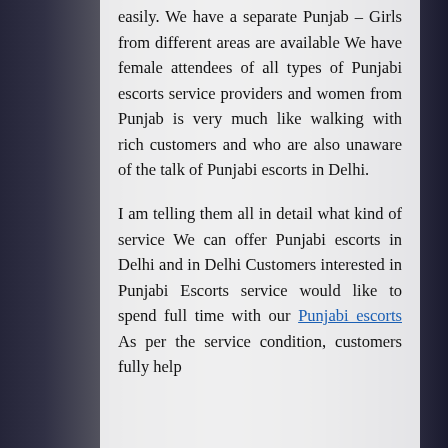easily. We have a separate Punjab – Girls from different areas are available We have female attendees of all types of Punjabi escorts service providers and women from Punjab is very much like walking with rich customers and who are also unaware of the talk of Punjabi escorts in Delhi.
I am telling them all in detail what kind of service We can offer Punjabi escorts in Delhi and in Delhi Customers interested in Punjabi Escorts service would like to spend full time with our Punjabi escorts As per the service condition, customers fully help